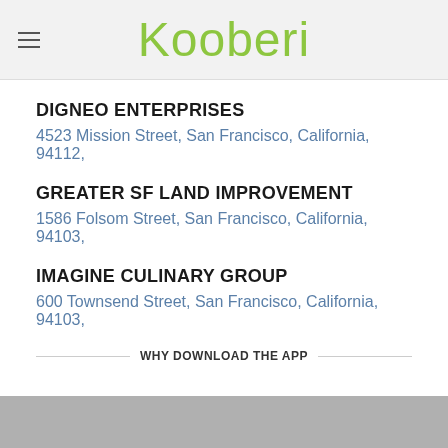Kooberi
DIGNEO ENTERPRISES
4523 Mission Street, San Francisco, California, 94112,
GREATER SF LAND IMPROVEMENT
1586 Folsom Street, San Francisco, California, 94103,
IMAGINE CULINARY GROUP
600 Townsend Street, San Francisco, California, 94103,
WHY DOWNLOAD THE APP
[Figure (photo): Gray image strip at the bottom of the page]